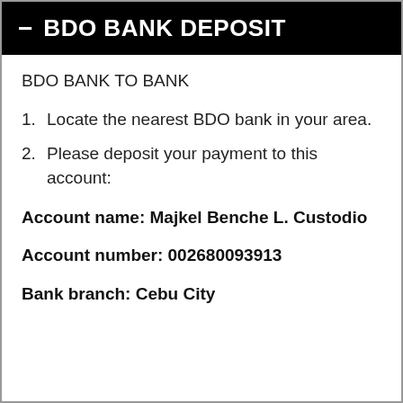− BDO BANK DEPOSIT
BDO BANK TO BANK
1. Locate the nearest BDO bank in your area.
2. Please deposit your payment to this account:
Account name: Majkel Benche L. Custodio
Account number: 002680093913
Bank branch: Cebu City